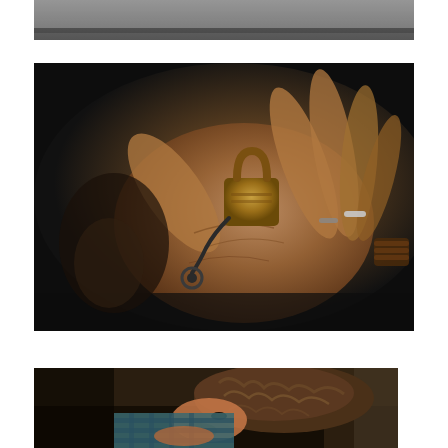[Figure (photo): Partial view of person in gray shirt, cropped at top of page, close-up of torso/waist area]
[Figure (photo): Close-up photograph of a weathered hand wearing rings and a bracelet, holding an old brass padlock with a dark background]
[Figure (photo): Person with curly hair lying down, wearing a plaid shirt, appears to be resting or sleeping, partial view cropped at bottom of page]